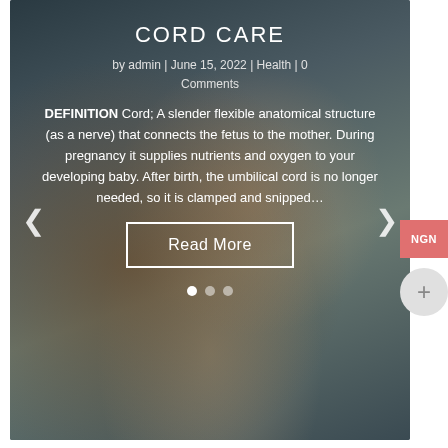CORD CARE
by admin | June 15, 2022 | Health | 0 Comments
DEFINITION Cord; A slender flexible anatomical structure (as a nerve) that connects the fetus to the mother. During pregnancy it supplies nutrients and oxygen to your developing baby. After birth, the umbilical cord is no longer needed, so it is clamped and snipped…
Read More